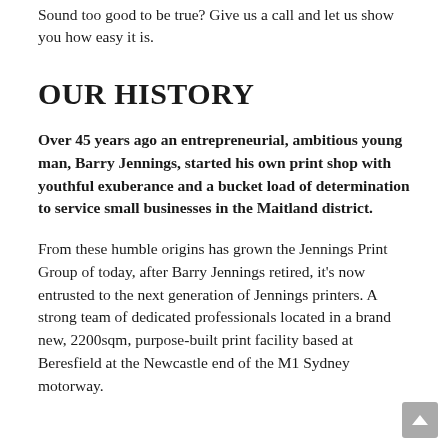Sound too good to be true? Give us a call and let us show you how easy it is.
OUR HISTORY
Over 45 years ago an entrepreneurial, ambitious young man, Barry Jennings, started his own print shop with youthful exuberance and a bucket load of determination to service small businesses in the Maitland district.
From these humble origins has grown the Jennings Print Group of today, after Barry Jennings retired, it's now entrusted to the next generation of Jennings printers. A strong team of dedicated professionals located in a brand new, 2200sqm, purpose-built print facility based at Beresfield at the Newcastle end of the M1 Sydney motorway.